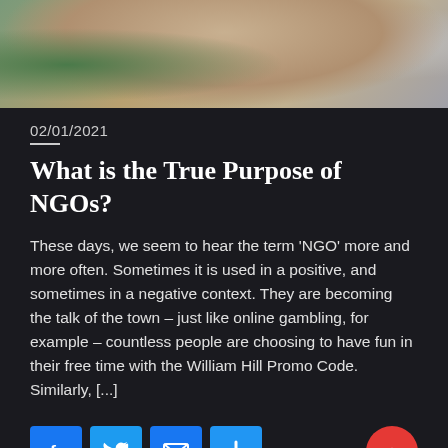[Figure (photo): Photo of people at a desk, cropped to show top portion — a person in a floral top holding a book/tablet near a wooden table with papers and greenery.]
02/01/2021
What is the True Purpose of NGOs?
These days, we seem to hear the term 'NGO' more and more often. Sometimes it is used in a positive, and sometimes in a negative context. They are becoming the talk of the town – just like online gambling, for example – countless people are choosing to have fun in their free time with the William Hill Promo Code. Similarly, [...]